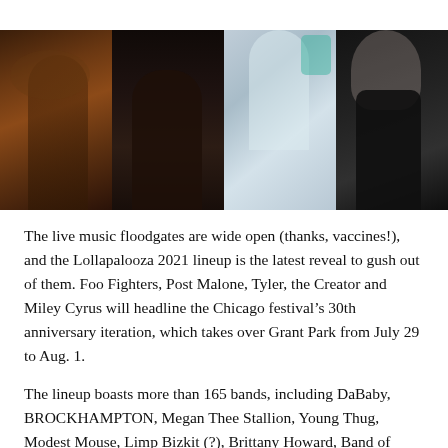[Figure (photo): A horizontal strip of four photos side by side: (1) a rock musician with long hair and jewelry, (2) a man with dark hair in shadow, (3) a person in a light-colored outfit with teal accent, (4) a woman with blonde hair and red lipstick in a black outfit with a Chanel brooch.]
The live music floodgates are wide open (thanks, vaccines!), and the Lollapalooza 2021 lineup is the latest reveal to gush out of them. Foo Fighters, Post Malone, Tyler, the Creator and Miley Cyrus will headline the Chicago festival’s 30th anniversary iteration, which takes over Grant Park from July 29 to Aug. 1.
The lineup boasts more than 165 bands, including DaBaby, BROCKHAMPTON, Megan Thee Stallion, Young Thug, Modest Mouse, Limp Bizkit (?), Brittany Howard, Band of Horses, Jai Paul, Fd. Wohle, Angel St. Above, (21), it this...